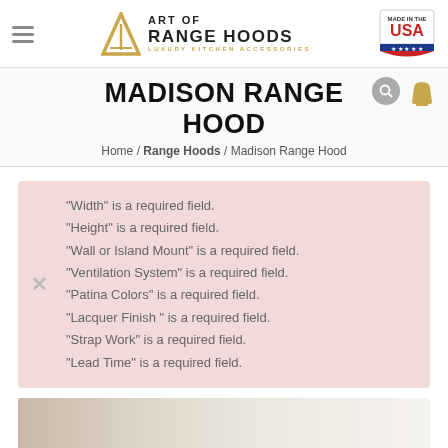Art of Range Hoods — Made in the USA
MADISON RANGE HOOD
Home / Range Hoods / Madison Range Hood
"Width" is a required field.
"Height" is a required field.
"Wall or Island Mount" is a required field.
"Ventilation System" is a required field.
"Patina Colors" is a required field.
"Lacquer Finish " is a required field.
"Strap Work" is a required field.
"Lead Time" is a required field.
[Figure (photo): Bottom portion of product image showing kitchen range hood in cream/beige tones]